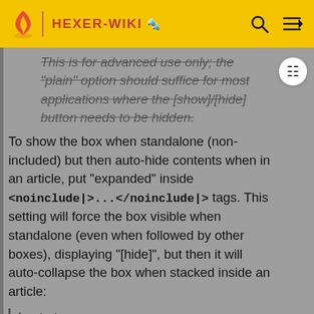HEXER-WIKI
This is for advanced use only; the "plain" option should suffice for most applications where the [show]/[hide] button needs to be hidden.
To show the box when standalone (non-included) but then auto-hide contents when in an article, put "expanded" inside <noinclude|>...</noinclude|> tags. This setting will force the box visible when standalone (even when followed by other boxes), displaying "[hide]", but then it will auto-collapse the box when stacked inside an article:
| state
= <noinclude|>expanded</noinclude|>
Often times, editors will want a default initial state for a navbox, which may be overridden in an article. Here is the trick to do this: